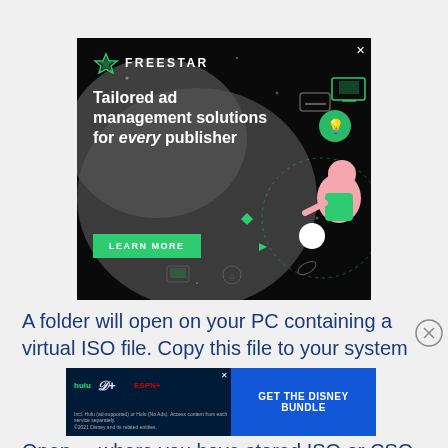[Figure (illustration): Freestar advertisement banner with dark background, blob shape, character illustration, and text 'Tailored ad management solutions for every publisher' with a green Learn More button]
A folder will open on your PC containing a virtual ISO file. Copy this file to your system
[Figure (illustration): Disney Bundle advertisement with Hulu, Disney+, ESPN+ logos and 'GET THE DISNEY BUNDLE' call to action button]
Open ... where you have stored ISO or CSO file. Click